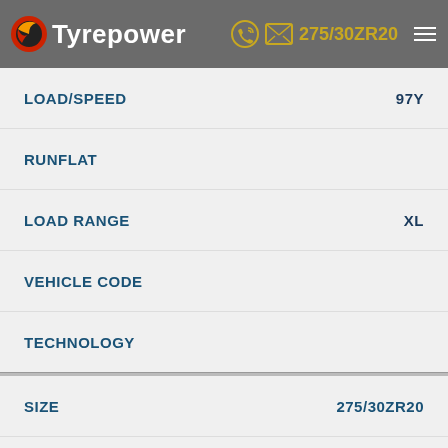Tyrepower — SIZE 275/30ZR20
| Field | Value |
| --- | --- |
| LOAD/SPEED | 97Y |
| RUNFLAT |  |
| LOAD RANGE | XL |
| VEHICLE CODE |  |
| TECHNOLOGY |  |
| Field | Value |
| --- | --- |
| SIZE | 275/30ZR20 |
| LOAD/SPEED | 97Y |
| RUNFLAT |  |
| LOAD RANGE | XL |
| VEHICLE CODE | MO |
| TECHNOLOGY |  |